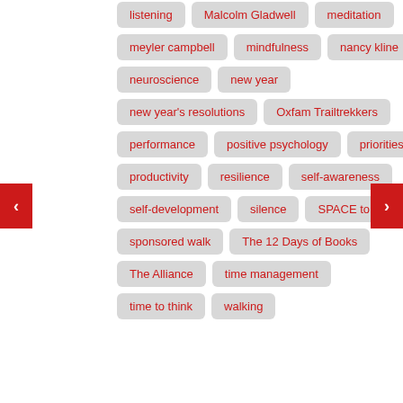listening
Malcolm Gladwell
meditation
meyler campbell
mindfulness
nancy kline
neuroscience
new year
new year's resolutions
Oxfam Trailtrekkers
performance
positive psychology
priorities
productivity
resilience
self-awareness
self-development
silence
SPACE to Grow
sponsored walk
The 12 Days of Books
The Alliance
time management
time to think
walking